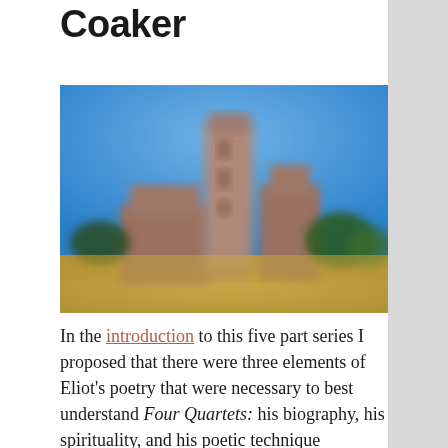Coaker
[Figure (photo): Blurred photograph of a tall brick or stone tower/castle ruins against a clear blue sky, with dry grass and trees visible in the background.]
In the introduction to this five part series I proposed that there were three elements of Eliot's poetry that were necessary to best understand Four Quartets: his biography, his spirituality, and his poetic technique